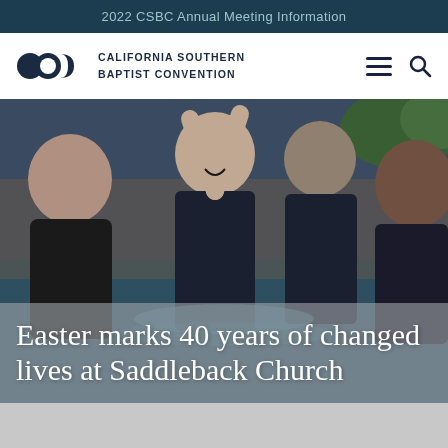2022 CSBC Annual Meeting Information
[Figure (logo): California Southern Baptist Convention logo with three overlapping dark circles and text 'CALIFORNIA SOUTHERN BAPTIST CONVENTION']
[Figure (photo): People celebrating a baptism in a pool. A woman with arms raised joyfully being baptized, surrounded by others in dark clothing.]
Easter marks 40 years of changed lives at Saddleback Church